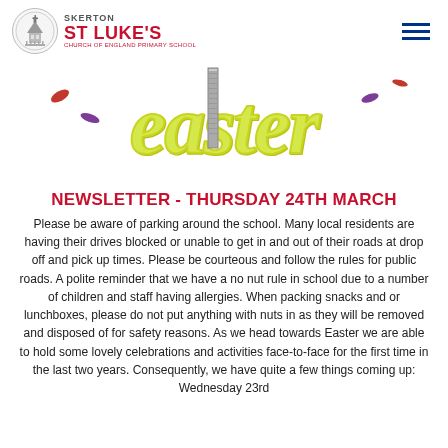SKERTON ST LUKE'S CHURCH OF ENGLAND PRIMARY SCHOOL
[Figure (illustration): Easter decorative script lettering in yellow-green cursive font with confetti decorations in purple and red]
NEWSLETTER - THURSDAY 24TH MARCH
Please be aware of parking around the school. Many local residents are having their drives blocked or unable to get in and out of their roads at drop off and pick up times. Please be courteous and follow the rules for public roads. A polite reminder that we have a no nut rule in school due to a number of children and staff having allergies. When packing snacks and or lunchboxes, please do not put anything with nuts in as they will be removed and disposed of for safety reasons. As we head towards Easter we are able to hold some lovely celebrations and activities face-to-face for the first time in the last two years. Consequently, we have quite a few things coming up: Wednesday 23rd